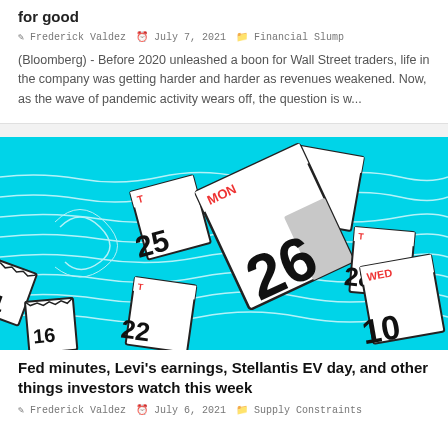for good
Frederick Valdez  July 7, 2021  Financial Slump
(Bloomberg) - Before 2020 unleashed a boon for Wall Street traders, life in the company was getting harder and harder as revenues weakened. Now, as the wave of pandemic activity wears off, the question is w...
[Figure (illustration): Illustration of calendar pages floating on a teal/cyan wavy water background. Calendar pages show dates including 25, 14, 26 (MON), 28, 22, 10 (WED), 31, 16.]
Fed minutes, Levi's earnings, Stellantis EV day, and other things investors watch this week
Frederick Valdez  July 6, 2021  Supply Constraints